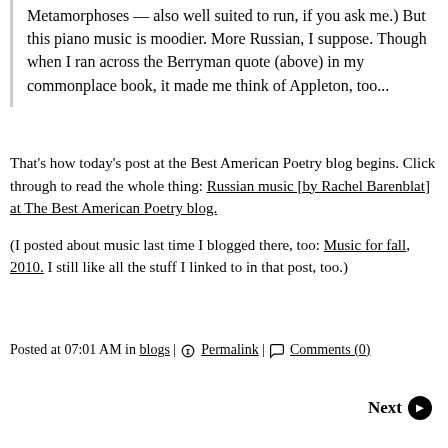Metamorphoses — also well suited to run, if you ask me.) But this piano music is moodier. More Russian, I suppose. Though when I ran across the Berryman quote (above) in my commonplace book, it made me think of Appleton, too...
That's how today's post at the Best American Poetry blog begins. Click through to read the whole thing: Russian music [by Rachel Barenblat] at The Best American Poetry blog.
(I posted about music last time I blogged there, too: Music for fall, 2010. I still like all the stuff I linked to in that post, too.)
Posted at 07:01 AM in blogs | Permalink | Comments (0)
Next >